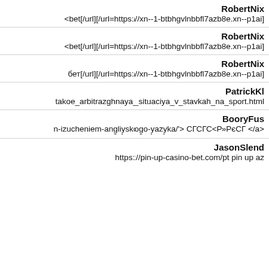RobertNix
<bet[/url][/url=https://xn--1-btbhgvlnbbfl7azb8e.xn--p1ai]
RobertNix
<bet[/url][/url=https://xn--1-btbhgvlnbbfl7azb8e.xn--p1ai]
RobertNix
бет[/url][/url=https://xn--1-btbhgvlnbbfl7azb8e.xn--p1ai]
PatrickKl
takoe_arbitrazghnaya_situaciya_v_stavkah_na_sport.html
BooryFus
n-izucheniem-angliyskogo-yazyka/'> СГСГС<Р»РєСГ </a>
JasonSlend
https://pin-up-casino-bet.com/pt pin up az